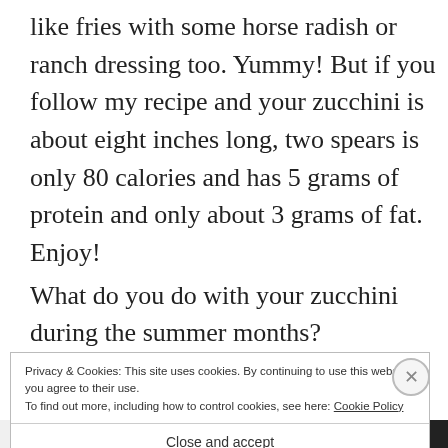like fries with some horse radish or ranch dressing too. Yummy!  But if you follow my recipe and your zucchini is about eight inches long, two spears is only 80 calories and has 5 grams of protein and only about 3 grams of fat. Enjoy!
What do you do with your zucchini during the summer months?
Privacy & Cookies: This site uses cookies. By continuing to use this website, you agree to their use.
To find out more, including how to control cookies, see here: Cookie Policy
Close and accept